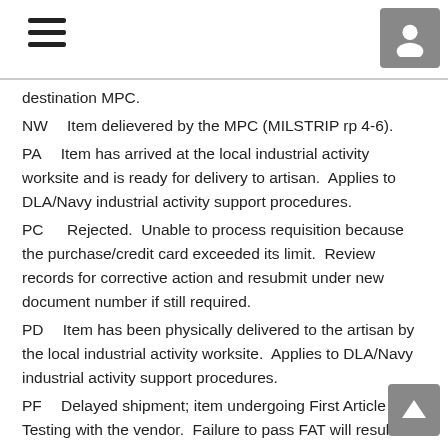Navigation header with hamburger menu and user icon
destination MPC.
NW    Item delievered by the MPC (MILSTRIP rp 4-6).
PA    Item has arrived at the local industrial activity worksite and is ready for delivery to artisan.  Applies to DLA/Navy industrial activity support procedures.
PC    Rejected.  Unable to process requisition because the purchase/credit card exceeded its limit.  Review records for corrective action and resubmit under new document number if still required.
PD    Item has been physically delivered to the artisan by the local industrial activity worksite.  Applies to DLA/Navy industrial activity support procedures.
PF    Delayed shipment; item undergoing First Article Testing with the vendor.  Failure to pass FAT will result in further delays.